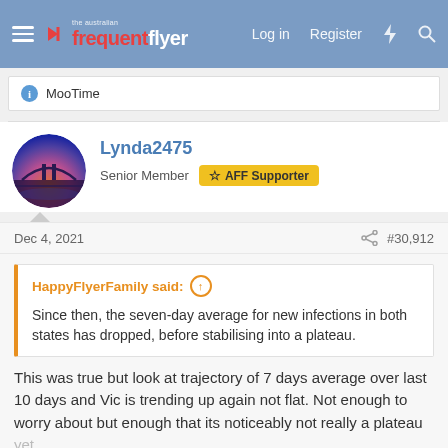Australian Frequent Flyer — Log in  Register
MooTime
Lynda2475
Senior Member  AFF Supporter
Dec 4, 2021  #30,912
HappyFlyerFamily said:
Since then, the seven-day average for new infections in both states has dropped, before stabilising into a plateau.
This was true but look at trajectory of 7 days average over last 10 days and Vic is trending up again not flat. Not enough to worry about but enough that its noticeably not really a plateau yet.